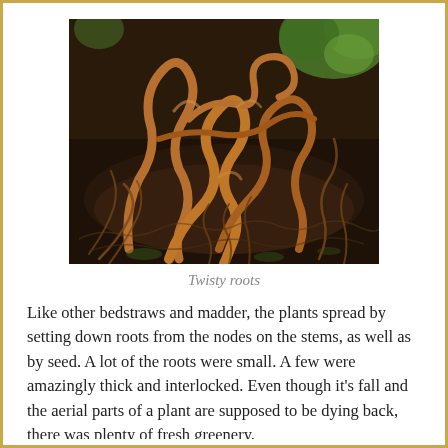[Figure (photo): Close-up photograph of tangled, twisting plant roots — some thick and orange-brown, others thin and fibrous — lying on dark soil with small green plants visible in the background.]
Twisty roots
Like other bedstraws and madder, the plants spread by setting down roots from the nodes on the stems, as well as by seed. A lot of the roots were small. A few were amazingly thick and interlocked. Even though it's fall and the aerial parts of a plant are supposed to be dying back, there was plenty of fresh greenery.